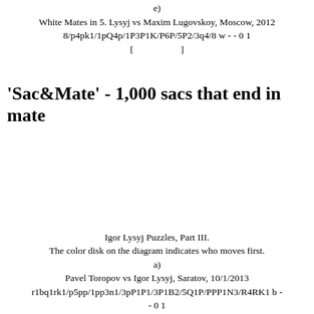e)
White Mates in 5. Lysyj vs Maxim Lugovskoy, Moscow, 2012
8/p4pk1/1pQ4p/1P3P1K/P6P/5P2/3q4/8 w - - 0 1
[                    ]
'Sac&Mate' - 1,000 sacs that end in mate
Igor Lysyj Puzzles, Part III.
The color disk on the diagram indicates who moves first.
a)
Pavel Toropov vs Igor Lysyj, Saratov, 10/1/2013
r1bq1rk1/p5pp/1pp3n1/3pP1P1/3P1B2/5Q1P/PPP1N3/R4RK1 b -
- 0 1